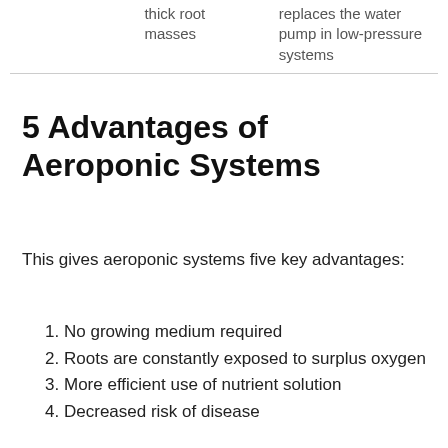|  |  |  |
| --- | --- | --- |
|  | thick root masses | replaces the water pump in low-pressure systems |
5 Advantages of Aeroponic Systems
This gives aeroponic systems five key advantages:
No growing medium required
Roots are constantly exposed to surplus oxygen
More efficient use of nutrient solution
Decreased risk of disease